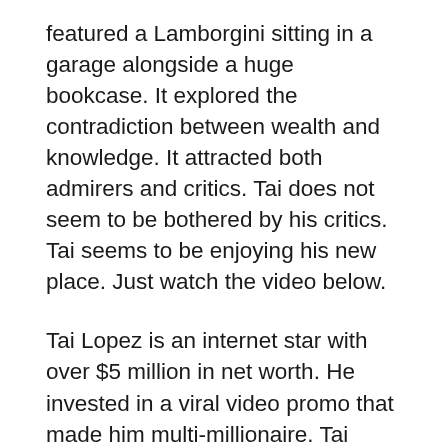featured a Lamborgini sitting in a garage alongside a huge bookcase. It explored the contradiction between wealth and knowledge. It attracted both admirers and critics. Tai does not seem to be bothered by his critics. Tai seems to be enjoying his new place. Just watch the video below.
Tai Lopez is an internet star with over $5 million in net worth. He invested in a viral video promo that made him multi-millionaire. Tai Lopez is the owner of two online businesses, one being a self-improvement company. These programs help people improve their lives and increase their quality of life. The program itself costs $67 and consists of 67 steps. Tai Lopez is a successful entrepreneur and should not be overlooked